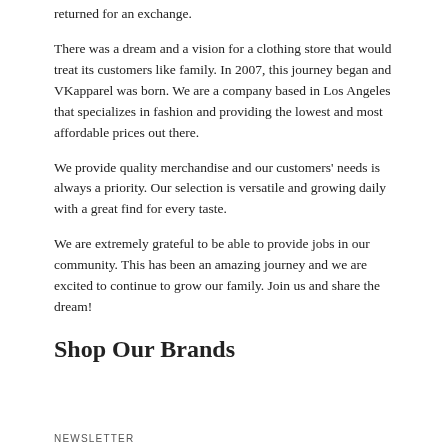returned for an exchange.
There was a dream and a vision for a clothing store that would treat its customers like family. In 2007, this journey began and VKapparel was born. We are a company based in Los Angeles that specializes in fashion and providing the lowest and most affordable prices out there.
We provide quality merchandise and our customers' needs is always a priority. Our selection is versatile and growing daily with a great find for every taste.
We are extremely grateful to be able to provide jobs in our community. This has been an amazing journey and we are excited to continue to grow our family. Join us and share the dream!
Shop Our Brands
NEWSLETTER